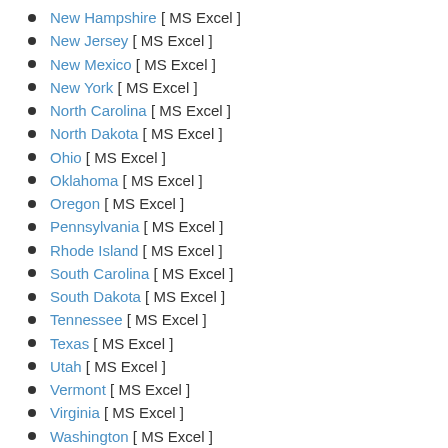New Hampshire [ MS Excel ]
New Jersey [ MS Excel ]
New Mexico [ MS Excel ]
New York [ MS Excel ]
North Carolina [ MS Excel ]
North Dakota [ MS Excel ]
Ohio [ MS Excel ]
Oklahoma [ MS Excel ]
Oregon [ MS Excel ]
Pennsylvania [ MS Excel ]
Rhode Island [ MS Excel ]
South Carolina [ MS Excel ]
South Dakota [ MS Excel ]
Tennessee [ MS Excel ]
Texas [ MS Excel ]
Utah [ MS Excel ]
Vermont [ MS Excel ]
Virginia [ MS Excel ]
Washington [ MS Excel ]
West Virginia [ MS Excel ]
Wisconsin [ MS Excel ]
Wyoming [ MS Excel ]